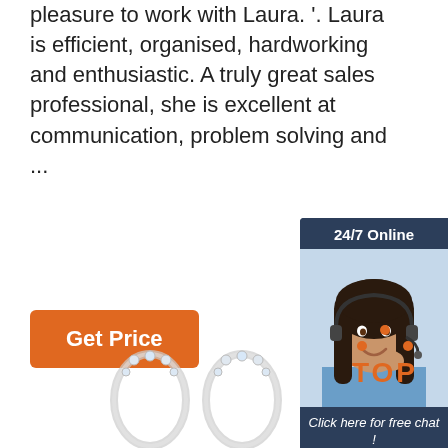pleasure to work with Laura. '. Laura is efficient, organised, hardworking and enthusiastic. A truly great sales professional, she is excellent at communication, problem solving and ...
[Figure (infographic): 24/7 Online chat widget with a photo of a smiling woman with headset, dark background, 'Click here for free chat!' text and an orange QUOTATION button]
Get Price
[Figure (other): Orange TOP badge with dots above the word TOP in orange on white background]
[Figure (photo): Silver crystal hoop earrings at the bottom of the page]